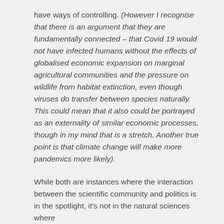have ways of controlling. (However I recognise that there is an argument that they are fundamentally connected – that Covid 19 would not have infected humans without the effects of globalised economic expansion on marginal agricultural communities and the pressure on wildlife from habitat extinction, even though viruses do transfer between species naturally. This could mean that it also could be portrayed as an externality of similar economic processes, though in my mind that is a stretch. Another true point is that climate change will make more pandemics more likely).
While both are instances where the interaction between the scientific community and politics is in the spotlight, it's not in the natural sciences where